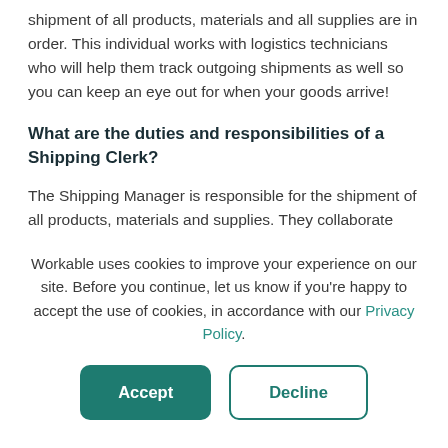shipment of all products, materials and all supplies are in order. This individual works with logistics technicians who will help them track outgoing shipments as well so you can keep an eye out for when your goods arrive!
What are the duties and responsibilities of a Shipping Clerk?
The Shipping Manager is responsible for the shipment of all products, materials and supplies. They collaborate
Workable uses cookies to improve your experience on our site. Before you continue, let us know if you're happy to accept the use of cookies, in accordance with our Privacy Policy.
Accept
Decline